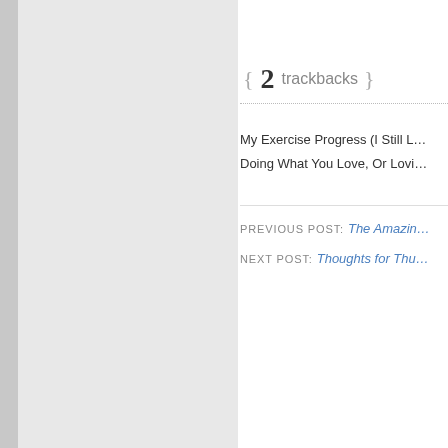Submit
{ 2 trackbacks }
My Exercise Progress (I Still L…
Doing What You Love, Or Lovi…
PREVIOUS POST: The Amazin…
NEXT POST: Thoughts for Thu…